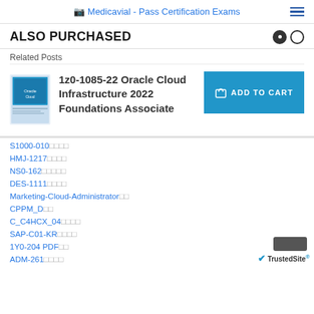Medicavial - Pass Certification Exams
ALSO PURCHASED
Related Posts
1z0-1085-22 Oracle Cloud Infrastructure 2022 Foundations Associate
[Figure (illustration): Book cover for 1z0-1085-22 Oracle Cloud Infrastructure 2022 Foundations Associate]
ADD TO CART
S1000-010
HMJ-1217
NS0-162
DES-1111
Marketing-Cloud-Administrator
CPPM_D
C_C4HCX_04
SAP-C01-KR
1Y0-204 PDF
ADM-261